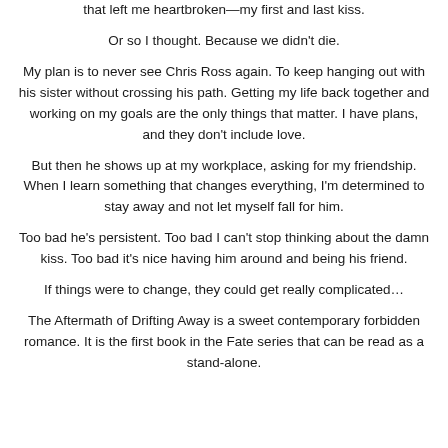that left me heartbroken—my first and last kiss.
Or so I thought. Because we didn't die.
My plan is to never see Chris Ross again. To keep hanging out with his sister without crossing his path. Getting my life back together and working on my goals are the only things that matter. I have plans, and they don't include love.
But then he shows up at my workplace, asking for my friendship. When I learn something that changes everything, I'm determined to stay away and not let myself fall for him.
Too bad he's persistent. Too bad I can't stop thinking about the damn kiss. Too bad it's nice having him around and being his friend.
If things were to change, they could get really complicated…
The Aftermath of Drifting Away is a sweet contemporary forbidden romance. It is the first book in the Fate series that can be read as a stand-alone.